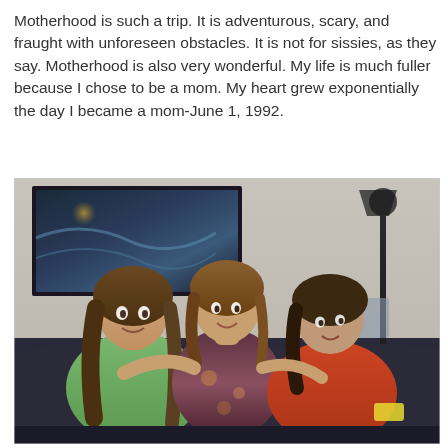Motherhood is such a trip. It is adventurous, scary, and fraught with unforeseen obstacles. It is not for sissies, as they say. Motherhood is also very wonderful. My life is much fuller because I chose to be a mom. My heart grew exponentially the day I became a mom-June 1, 1992.
[Figure (photo): A woman with brown hair sitting on a dark sofa with two young women, one on each side, in a living room setting with a stormy seascape painting on the wall behind them and a floor lamp visible. The woman on the left wears a green top, the middle woman wears a floral blouse, and the woman on the right wears an orange top.]